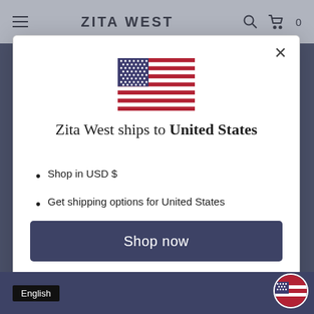ZITA WEST
[Figure (screenshot): US flag SVG illustration]
Zita West ships to United States
Shop in USD $
Get shipping options for United States
Shop now
Change shipping country
English